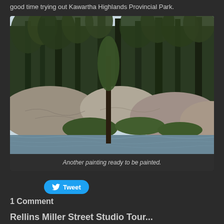good time trying out Kawartha Highlands Provincial Park.
[Figure (photo): Photograph of rocky shoreline with tall pine trees and large granite boulders, with calm lake water in the foreground. Caption reads: Another painting ready to be painted.]
Another painting ready to be painted.
Tweet
1 Comment